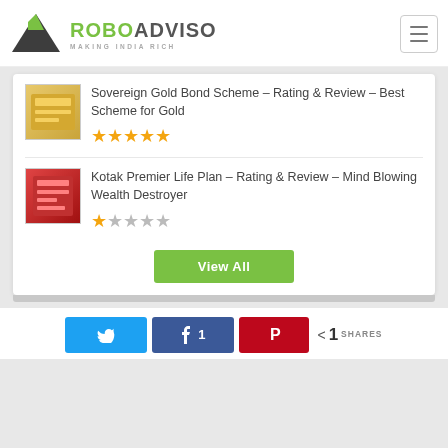[Figure (logo): RoboAdviso logo with green/dark triangle and text ROBOADVISO MAKING INDIA RICH]
Sovereign Gold Bond Scheme – Rating & Review – Best Scheme for Gold
[Figure (illustration): Gold bond thumbnail image]
★★★★★ (5 stars filled, orange)
Kotak Premier Life Plan – Rating & Review – Mind Blowing Wealth Destroyer
[Figure (illustration): Kotak Premier Life Plan thumbnail image]
★☆☆☆☆ (1 star filled, orange)
View All
Twitter share button
Facebook share button with count 1
Pinterest share button
< 1 SHARES